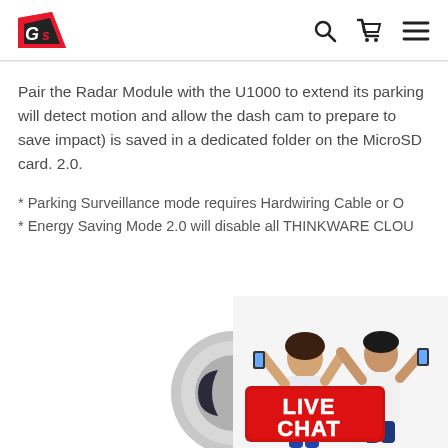GS navigation logo with search, cart, and menu icons
Pair the Radar Module with the U1000 to extend its parking will detect motion and allow the dash cam to prepare to save impact) is saved in a dedicated folder on the MicroSD card. 2.0.
* Parking Surveillance mode requires Hardwiring Cable or O
* Energy Saving Mode 2.0 will disable all THINKWARE CLOU
[Figure (illustration): Circular radar module device illustration, dark crescent moon/sleep icon on grey circle background]
[Figure (photo): Live Chat banner with two excited people (man and woman) celebrating, bold LIVE CHAT text in red and white]